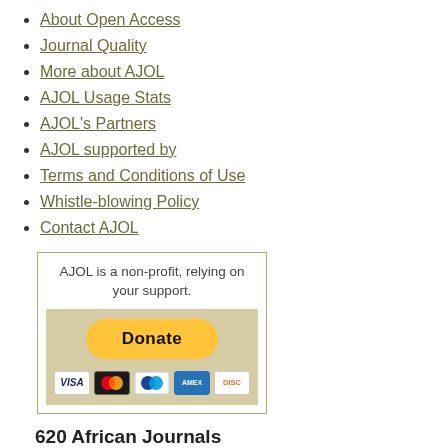About Open Access
Journal Quality
More about AJOL
AJOL Usage Stats
AJOL's Partners
AJOL supported by
Terms and Conditions of Use
Whistle-blowing Policy
Contact AJOL
[Figure (other): PayPal donation button with Visa, Mastercard, PayPal, American Express, and Discover card logos. Text: AJOL is a non-profit, relying on your support.]
620 African Journals
By Category
Alphabetically
By Country